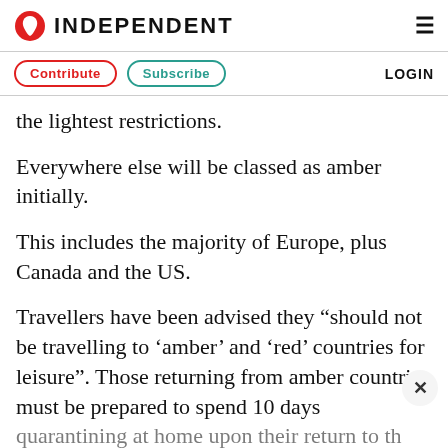INDEPENDENT
Contribute  Subscribe  LOGIN
the lightest restrictions.
Everywhere else will be classed as amber initially.
This includes the majority of Europe, plus Canada and the US.
Travellers have been advised they “should not be travelling to ‘amber’ and ‘red’ countries for leisure”. Those returning from amber countries must be prepared to spend 10 days quarantining at home upon their return to th